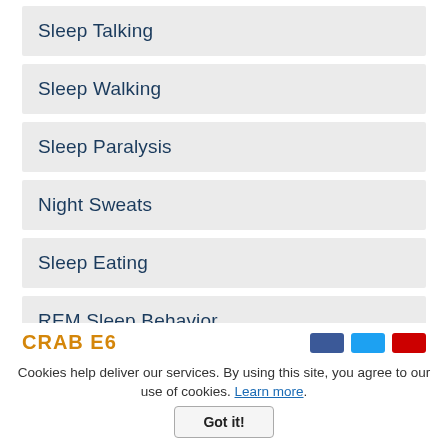Sleep Talking
Sleep Walking
Sleep Paralysis
Night Sweats
Sleep Eating
REM Sleep Behavior
Bruxism
Cookies help deliver our services. By using this site, you agree to our use of cookies. Learn more. Got it!